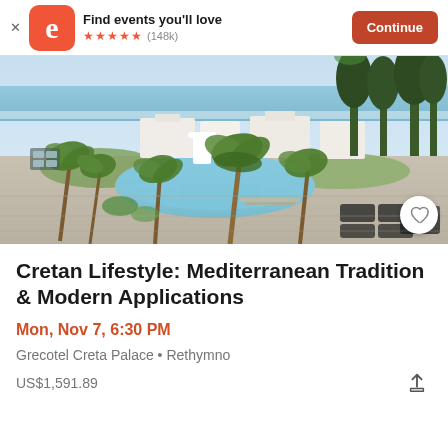Find events you'll love ★★★★★ (148k) Continue
[Figure (photo): Aerial view of a Mediterranean resort hotel with large pool, palm trees, white buildings, and ocean in background — Grecotel Creta Palace]
Cretan Lifestyle: Mediterranean Tradition & Modern Applications
Mon, Nov 7, 6:30 PM
Grecotel Creta Palace • Rethymno
US$1,591.89